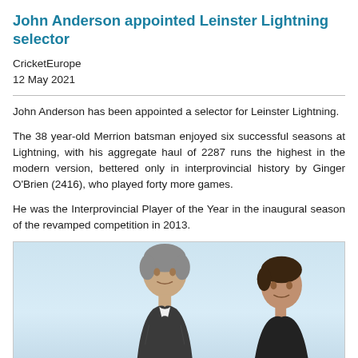John Anderson appointed Leinster Lightning selector
CricketEurope
12 May 2021
John Anderson has been appointed a selector for Leinster Lightning.
The 38 year-old Merrion batsman enjoyed six successful seasons at Lightning, with his aggregate haul of 2287 runs the highest in the modern version, bettered only in interprovincial history by Ginger O'Brien (2416), who played forty more games.
He was the Interprovincial Player of the Year in the inaugural season of the revamped competition in 2013.
[Figure (photo): Two men photographed outdoors against a light blue sky background]